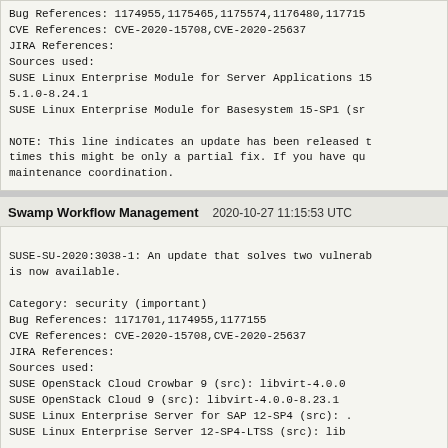Bug References: 1174955,1175465,1175574,1176480,117...
CVE References: CVE-2020-15708,CVE-2020-25637
JIRA References:
Sources used:
SUSE Linux Enterprise Module for Server Applications 15...
5.1.0-8.24.1
SUSE Linux Enterprise Module for Basesystem 15-SP1 (src...
NOTE: This line indicates an update has been released times this might be only a partial fix. If you have qu maintenance coordination.
Swamp Workflow Management   2020-10-27 11:15:53 UTC
SUSE-SU-2020:3038-1: An update that solves two vulnera is now available.

Category: security (important)
Bug References: 1171701,1174955,1177155
CVE References: CVE-2020-15708,CVE-2020-25637
JIRA References:
Sources used:
SUSE OpenStack Cloud Crowbar 9 (src):    libvirt-4.0.0
SUSE OpenStack Cloud 9 (src):    libvirt-4.0.0-8.23.1
SUSE Linux Enterprise Server for SAP 12-SP4 (src):    .
SUSE Linux Enterprise Server 12-SP4-LTSS (src):    lib
NOTE: This line indicates an update has been released...